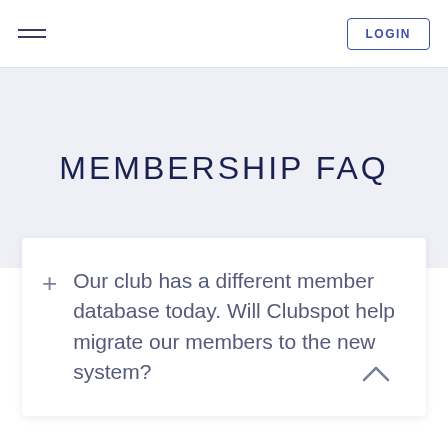LOGIN
MEMBERSHIP FAQ
+ Our club has a different member database today. Will Clubspot help migrate our members to the new system?